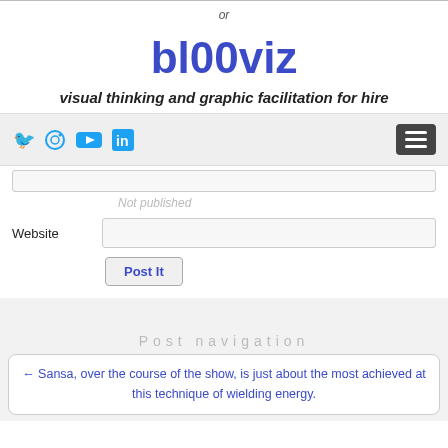or
bl00viz
visual thinking and graphic facilitation for hire
[Figure (screenshot): Navigation bar with social media icons (Twitter, Instagram, YouTube, LinkedIn) and a hamburger menu button]
Not published
Website
Post It
Post navigation
← Sansa, over the course of the show, is just about the most achieved at this technique of wielding energy.